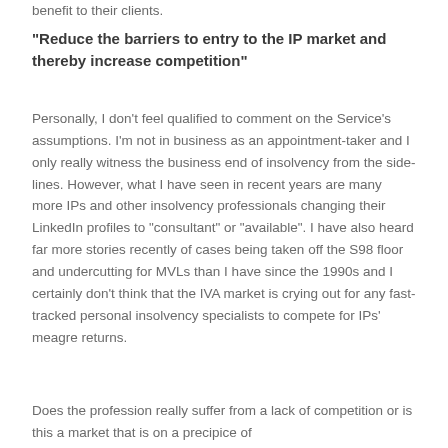benefit to their clients.
“Reduce the barriers to entry to the IP market and thereby increase competition”
Personally, I don’t feel qualified to comment on the Service’s assumptions. I’m not in business as an appointment-taker and I only really witness the business end of insolvency from the side-lines. However, what I have seen in recent years are many more IPs and other insolvency professionals changing their LinkedIn profiles to “consultant” or “available”. I have also heard far more stories recently of cases being taken off the S98 floor and undercutting for MVLs than I have since the 1990s and I certainly don’t think that the IVA market is crying out for any fast-tracked personal insolvency specialists to compete for IPs’ meagre returns.
Does the profession really suffer from a lack of competition or is this a market that is on a precipice of